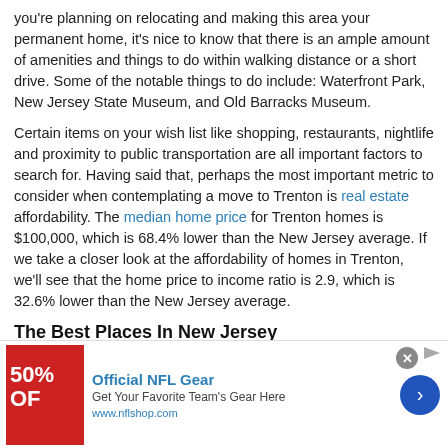you're planning on relocating and making this area your permanent home, it's nice to know that there is an ample amount of amenities and things to do within walking distance or a short drive. Some of the notable things to do include: Waterfront Park, New Jersey State Museum, and Old Barracks Museum.
Certain items on your wish list like shopping, restaurants, nightlife and proximity to public transportation are all important factors to search for. Having said that, perhaps the most important metric to consider when contemplating a move to Trenton is real estate affordability. The median home price for Trenton homes is $100,000, which is 68.4% lower than the New Jersey average. If we take a closer look at the affordability of homes in Trenton, we'll see that the home price to income ratio is 2.9, which is 32.6% lower than the New Jersey average.
The Best Places In New Jersey
[Figure (other): Advertisement banner for Official NFL Gear showing 50% OFF red image, text 'Official NFL Gear', 'Get Your Favorite Team's Gear Here', 'www.nflshop.com', with a blue arrow button and close X button.]